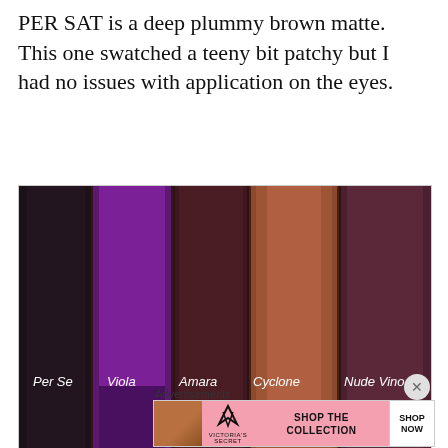PER SAT is a deep plummy brown matte. This one swatched a teeny bit patchy but I had no issues with application on the eyes.
[Figure (photo): Eyeshadow swatches on dark skin showing five shades labeled: Per Se (dark charcoal), Viola (bright purple), Amara (dark burgundy/brown), Cyclone (warm coppery brown), Nude Vino (mauve/dark plum). Labels are written in white handwriting across the lower portion of the swatches.]
Advertisements
[Figure (screenshot): Victoria's Secret advertisement banner: pink background with a model, VS logo, text 'SHOP THE COLLECTION', and a white 'SHOP NOW' button.]